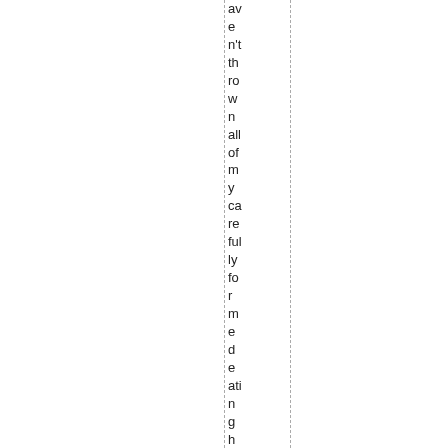av e n't th ro w n all of m y ca re ful ly fo r m e d e ati n g h a bit s o ut